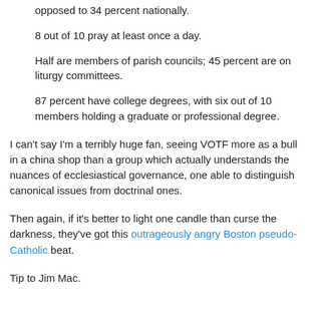opposed to 34 percent nationally.
8 out of 10 pray at least once a day.
Half are members of parish councils; 45 percent are on liturgy committees.
87 percent have college degrees, with six out of 10 members holding a graduate or professional degree.
I can't say I'm a terribly huge fan, seeing VOTF more as a bull in a china shop than a group which actually understands the nuances of ecclesiastical governance, one able to distinguish canonical issues from doctrinal ones.
Then again, if it's better to light one candle than curse the darkness, they've got this outrageously angry Boston pseudo-Catholic beat.
Tip to Jim Mac.